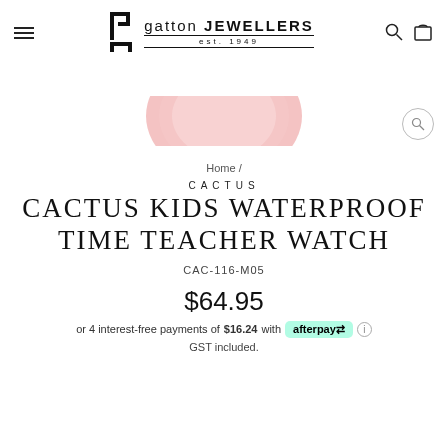gatton JEWELLERS est. 1949
[Figure (photo): Partial view of a pink watch face at the top of the page]
Home /
CACTUS
CACTUS KIDS WATERPROOF TIME TEACHER WATCH
CAC-116-M05
$64.95
or 4 interest-free payments of $16.24 with afterpay GST included.